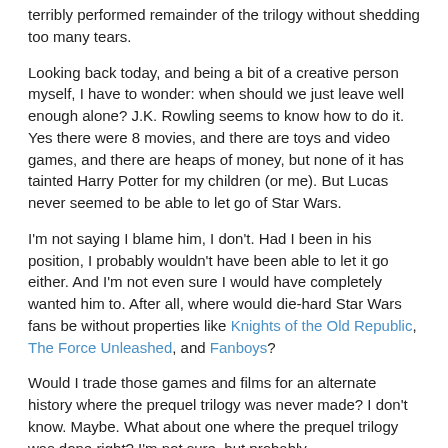terribly performed remainder of the trilogy without shedding too many tears.
Looking back today, and being a bit of a creative person myself, I have to wonder: when should we just leave well enough alone? J.K. Rowling seems to know how to do it. Yes there were 8 movies, and there are toys and video games, and there are heaps of money, but none of it has tainted Harry Potter for my children (or me). But Lucas never seemed to be able to let go of Star Wars.
I'm not saying I blame him, I don't. Had I been in his position, I probably wouldn't have been able to let it go either. And I'm not even sure I would have completely wanted him to. After all, where would die-hard Star Wars fans be without properties like Knights of the Old Republic, The Force Unleashed, and Fanboys?
Would I trade those games and films for an alternate history where the prequel trilogy was never made? I don't know. Maybe. What about one where the prequel trilogy was done right? I'm not sure, but probably.